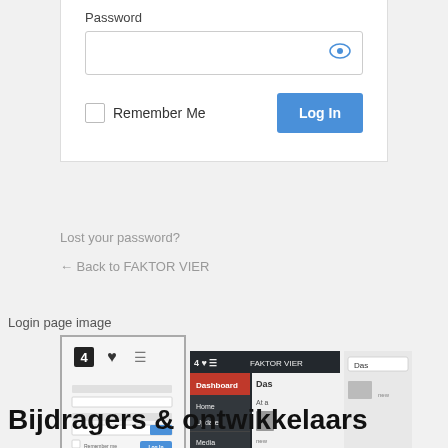Password
[Figure (screenshot): Password input field with eye icon to toggle visibility]
Remember Me
[Figure (screenshot): Log In button (blue)]
Lost your password?
← Back to FAKTOR VIER
Login page image
[Figure (screenshot): Two screenshots of a WordPress login page and admin dashboard for the FAKTOR VIER plugin]
Bijdragers & ontwikkelaars